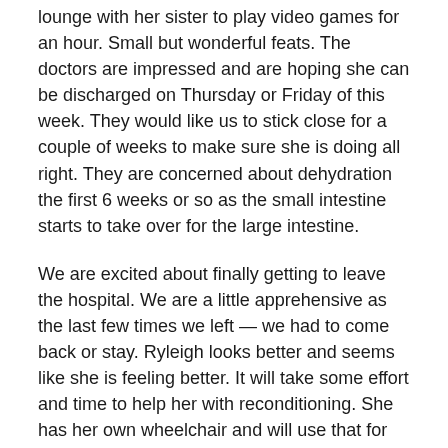lounge with her sister to play video games for an hour. Small but wonderful feats. The doctors are impressed and are hoping she can be discharged on Thursday or Friday of this week. They would like us to stick close for a couple of weeks to make sure she is doing all right. They are concerned about dehydration the first 6 weeks or so as the small intestine starts to take over for the large intestine.
We are excited about finally getting to leave the hospital. We are a little apprehensive as the last few times we left — we had to come back or stay. Ryleigh looks better and seems like she is feeling better. It will take some effort and time to help her with reconditioning. She has her own wheelchair and will use that for any long excursions and outings.
Let's hope that all works well and we are staying all together at Easter Seals House on Thursday Night.